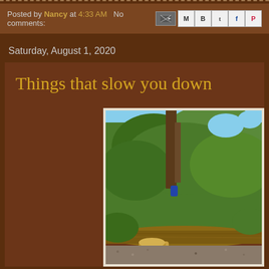Posted by Nancy at 4:33 AM   No comments:
Saturday, August 1, 2020
Things that slow you down
[Figure (photo): A fallen tree or large branch lying on the ground surrounded by dense green foliage and bushes, with blue sky visible through the trees above. Some cut log pieces are visible on the ground. Appears to be a garden or yard scene.]